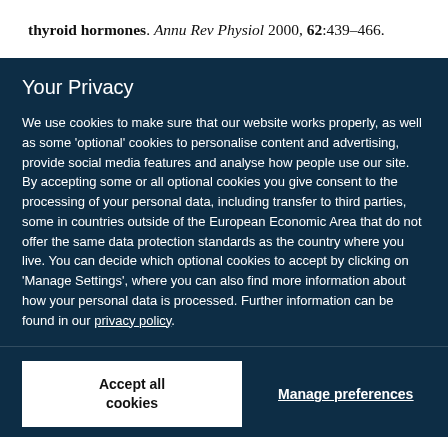thyroid hormones. Annu Rev Physiol 2000, 62:439–466.
Your Privacy
We use cookies to make sure that our website works properly, as well as some 'optional' cookies to personalise content and advertising, provide social media features and analyse how people use our site. By accepting some or all optional cookies you give consent to the processing of your personal data, including transfer to third parties, some in countries outside of the European Economic Area that do not offer the same data protection standards as the country where you live. You can decide which optional cookies to accept by clicking on 'Manage Settings', where you can also find more information about how your personal data is processed. Further information can be found in our privacy policy.
Accept all cookies
Manage preferences